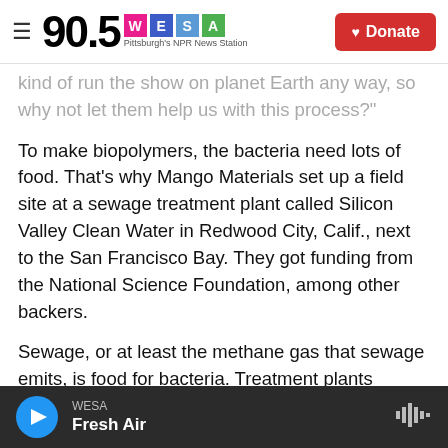90.5 WESA Pittsburgh's NPR News Station | Donate
kind of run the show on planet Earth any way, so why not let them help us with this process?"
To make biopolymers, the bacteria need lots of food. That's why Mango Materials set up a field site at a sewage treatment plant called Silicon Valley Clean Water in Redwood City, Calif., next to the San Francisco Bay. They got funding from the National Science Foundation, among other backers.
Sewage, or at least the methane gas that sewage emits, is food for bacteria. Treatment plants usually burn off the methane or just vent it into the air. Methane is a potent greenhouse gas that
WESA | Fresh Air